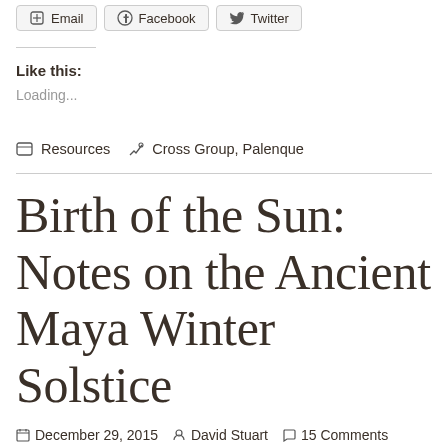Email | Facebook | Twitter
Like this:
Loading...
Resources   Cross Group, Palenque
Birth of the Sun: Notes on the Ancient Maya Winter Solstice
December 29, 2015   David Stuart   15 Comments